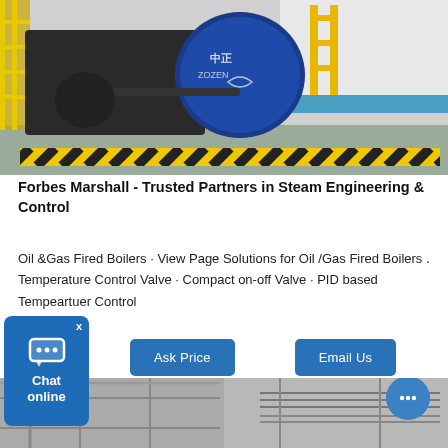[Figure (photo): Industrial steam boiler in a factory setting with yellow piping and black-yellow hazard striping on the floor. A large blue cylindrical boiler is visible with Chinese manufacturer branding.]
Forbes Marshall - Trusted Partners in Steam Engineering & Control
Oil &Gas Fired Boilers · View Page Solutions for Oil /Gas Fired Boilers . Temperature Control Valve · Compact on-off Valve · PID based Tempeartuer Control
[Figure (screenshot): Blue 'Ask Price' button]
[Figure (screenshot): Blue 'Email Us' button]
[Figure (photo): Industrial interior with pipes and structural beams, black and white toned image.]